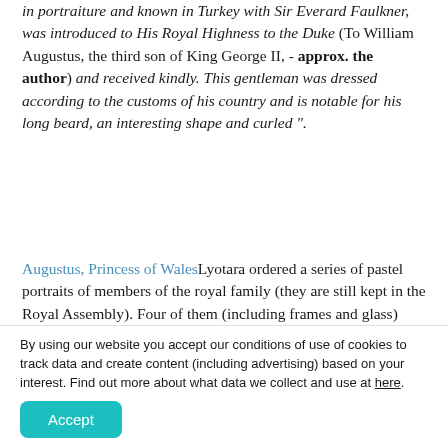in portraiture and known in Turkey with Sir Everard Faulkner, was introduced to His Royal Highness to the Duke (To William Augustus, the third son of King George II, - approx. the author) and received kindly. This gentleman was dressed according to the customs of his country and is notable for his long beard, an interesting shape and curled ".
Augustus, Princess of WalesLyotara ordered a series of pastel portraits of members of the royal family (they are still kept in the Royal Assembly). Four of them (including frames and glass) cost 108 guineas. And the already mentioned Lord D...
By using our website you accept our conditions of use of cookies to track data and create content (including advertising) based on your interest. Find out more about what data we collect and use at here.